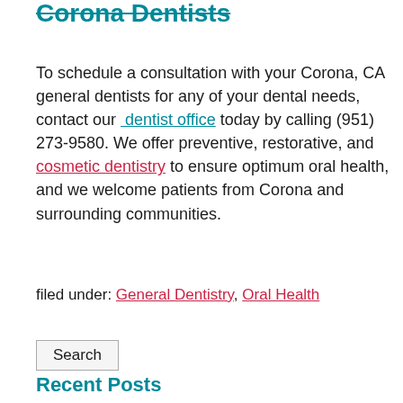Corona Dentists
To schedule a consultation with your Corona, CA general dentists for any of your dental needs, contact our dentist office today by calling (951) 273-9580. We offer preventive, restorative, and cosmetic dentistry to ensure optimum oral health, and we welcome patients from Corona and surrounding communities.
filed under: General Dentistry, Oral Health
Search
Recent Posts